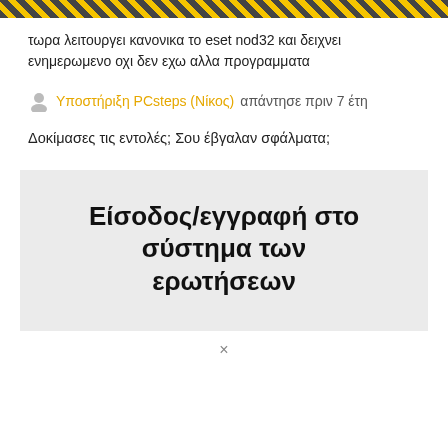τωρα λειτουργει κανονικα το eset nod32 και δειχνει ενημερωμενο οχι δεν εχω αλλα προγραμματα
Υποστήριξη PCsteps (Νίκος) απάντησε πριν 7 έτη
Δοκίμασες τις εντολές; Σου έβγαλαν σφάλματα;
Είσοδος/εγγραφή στο σύστημα των ερωτήσεων